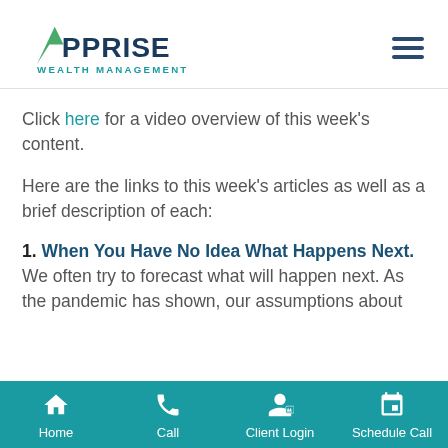Apprise Wealth Management
Click here for a video overview of this week's content.
Here are the links to this week's articles as well as a brief description of each:
1. When You Have No Idea What Happens Next. We often try to forecast what will happen next. As the pandemic has shown, our assumptions about
Home | Call | Client Login | Schedule Call